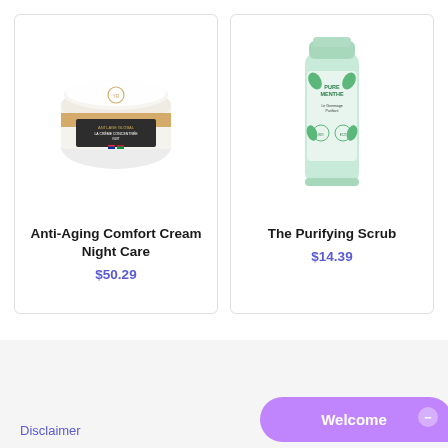[Figure (photo): White and gold circular cream jar with label Anti-Age Global La Crème Concentrée Nuit by Yves Rocher]
Anti-Aging Comfort Cream Night Care
$50.29
[Figure (photo): Green tube of The Purifying Scrub with mint leaf design]
The Purifying Scrub
$14.39
Disclaimer
Welcome